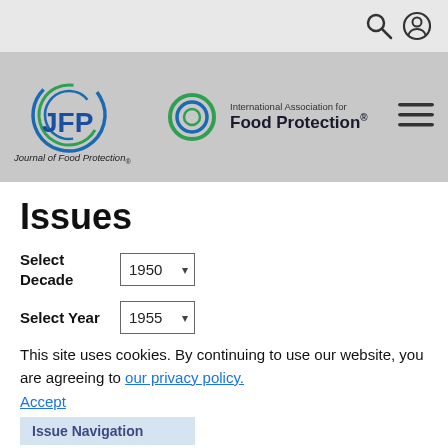[Figure (logo): JFP Journal of Food Protection logo with circular swoosh graphic]
[Figure (logo): International Association for Food Protection logo with circular ring graphic and text]
Issues
Select Decade
1950
Select Year
1955
This site uses cookies. By continuing to use our website, you are agreeing to our privacy policy.
Accept
Issue Navigation